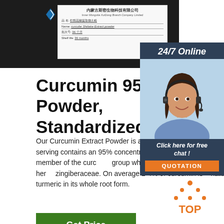[Figure (photo): Dark background with a white product label card showing Chinese company name, Inner Mongolia XuiDong Branch Company Limited, with product name fields filled in Chinese and English for Curcumin Shiitake Extract powder, shelf life 36 months]
[Figure (photo): 24/7 Online customer service chat widget showing a smiling woman with headset, with 'Click here for free chat!' text and orange QUOTATION button, on dark blue background]
Curcumin 95% extract Powder, Standardized, Non-GMO,
Our Curcumin Extract Powder is a 95% extract (standardized), meaning each serving contains an 95% concentration of Curcuminoids. Turmeric is a member of the curcuma group which is a part of the ginger family of herbs zingiberaceae. On average 2-4% of curcumin is naturally find in turmeric in its whole root form.
[Figure (other): Green Get Price button]
[Figure (other): TOP badge with orange dot triangle icon]